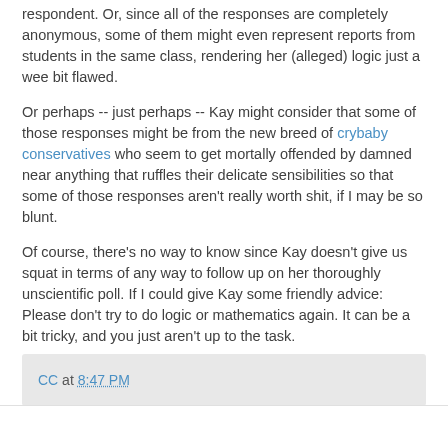respondent. Or, since all of the responses are completely anonymous, some of them might even represent reports from students in the same class, rendering her (alleged) logic just a wee bit flawed.
Or perhaps -- just perhaps -- Kay might consider that some of those responses might be from the new breed of crybaby conservatives who seem to get mortally offended by damned near anything that ruffles their delicate sensibilities so that some of those responses aren't really worth shit, if I may be so blunt.
Of course, there's no way to know since Kay doesn't give us squat in terms of any way to follow up on her thoroughly unscientific poll. If I could give Kay some friendly advice: Please don't try to do logic or mathematics again. It can be a bit tricky, and you just aren't up to the task.
CC at 8:47 PM